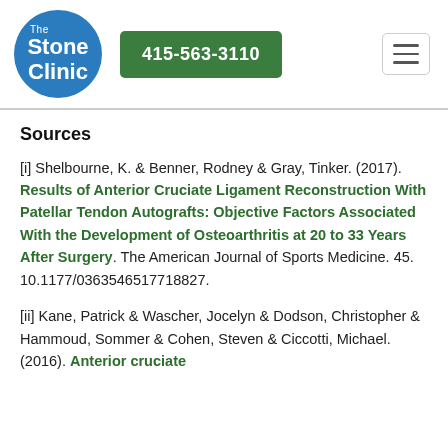The Stone Clinic | 415-563-3110
Sources
[i] Shelbourne, K. & Benner, Rodney & Gray, Tinker. (2017). Results of Anterior Cruciate Ligament Reconstruction With Patellar Tendon Autografts: Objective Factors Associated With the Development of Osteoarthritis at 20 to 33 Years After Surgery. The American Journal of Sports Medicine. 45. 10.1177/0363546517718827.
[ii] Kane, Patrick & Wascher, Jocelyn & Dodson, Christopher & Hammoud, Sommer & Cohen, Steven & Ciccotti, Michael. (2016). Anterior cruciate